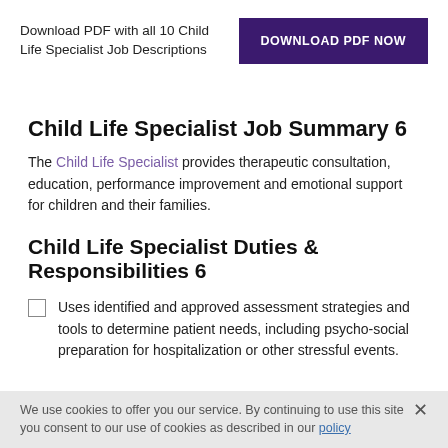Download PDF with all 10 Child Life Specialist Job Descriptions
DOWNLOAD PDF NOW
Child Life Specialist Job Summary 6
The Child Life Specialist provides therapeutic consultation, education, performance improvement and emotional support for children and their families.
Child Life Specialist Duties & Responsibilities 6
Uses identified and approved assessment strategies and tools to determine patient needs, including psycho-social preparation for hospitalization or other stressful events.
We use cookies to offer you our service. By continuing to use this site you consent to our use of cookies as described in our policy